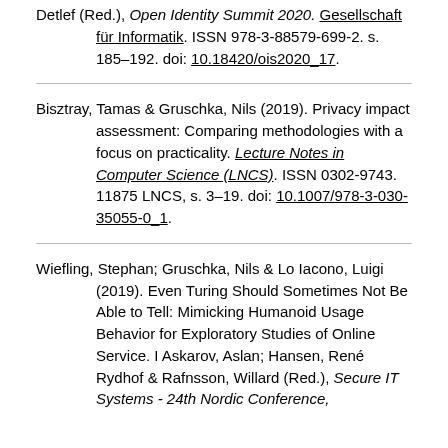Detlef (Red.), Open Identity Summit 2020. Gesellschaft für Informatik. ISSN 978-3-88579-699-2. s. 185–192. doi: 10.18420/ois2020_17.
Bisztray, Tamas & Gruschka, Nils (2019). Privacy impact assessment: Comparing methodologies with a focus on practicality. Lecture Notes in Computer Science (LNCS). ISSN 0302-9743. 11875 LNCS, s. 3–19. doi: 10.1007/978-3-030-35055-0_1.
Wiefling, Stephan; Gruschka, Nils & Lo Iacono, Luigi (2019). Even Turing Should Sometimes Not Be Able to Tell: Mimicking Humanoid Usage Behavior for Exploratory Studies of Online Service. I Askarov, Aslan; Hansen, René Rydhof & Rafnsson, Willard (Red.), Secure IT Systems - 24th Nordic Conference,